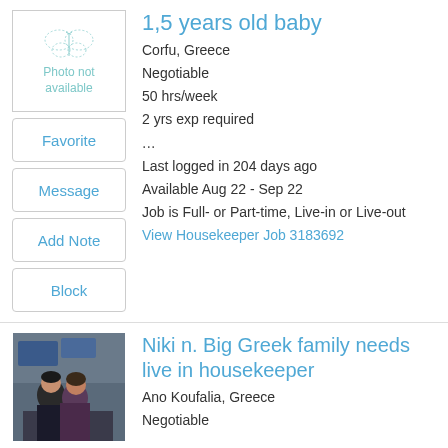1,5 years old baby
Corfu, Greece
Negotiable
50 hrs/week
2 yrs exp required
...
Last logged in 204 days ago
Available Aug 22 - Sep 22
Job is Full- or Part-time, Live-in or Live-out
View Housekeeper Job 3183692
Niki n. Big Greek family needs live in housekeeper
Ano Koufalia, Greece
Negotiable